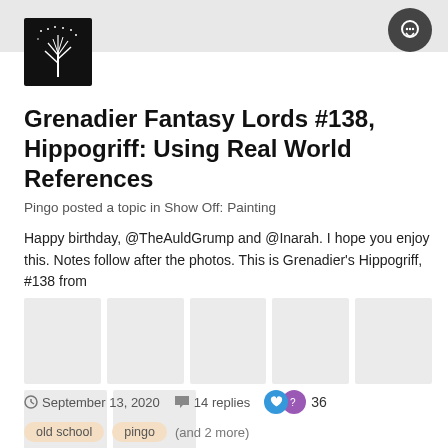[Figure (logo): Black square logo with white tree illustration (Tolkien/LOTR style white tree)]
Grenadier Fantasy Lords #138, Hippogriff: Using Real World References
Pingo posted a topic in Show Off: Painting
Happy birthday, @TheAuldGrump and @Inarah. I hope you enjoy this. Notes follow after the photos. This is Grenadier's Hippogriff, #138 from
[Figure (photo): Grid of 7 placeholder image thumbnails (5 in first row, 2 in second row) showing grey/light colored image placeholders]
September 13, 2020   14 replies   36
old school   pingo   (and 2 more)